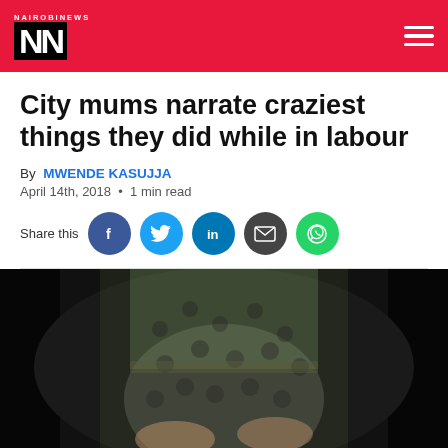NAIROBI NEWS
City mums narrate craziest things they did while in labour
By MWENDE KASUJJA
April 14th, 2018 • 1 min read
Share this
[Figure (photo): Pregnant woman in green patterned dress holding her belly against a dark background]